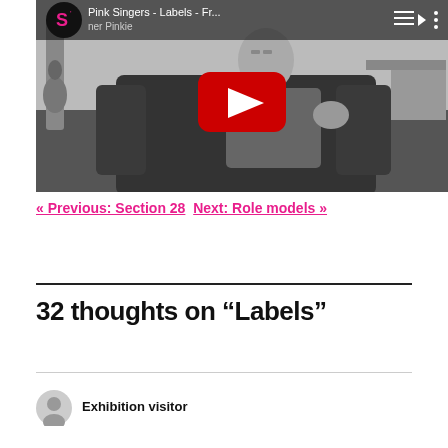[Figure (screenshot): YouTube video thumbnail showing a person sitting in a dark leather chair in a black-and-white room with a guitar visible in background. Title bar reads 'Pink Singers - Labels - Fr...' with channel name 'ner Pinkie'. Red YouTube play button overlay in center.]
« Previous: Section 28  Next: Role models »
32 thoughts on “Labels”
Exhibition visitor